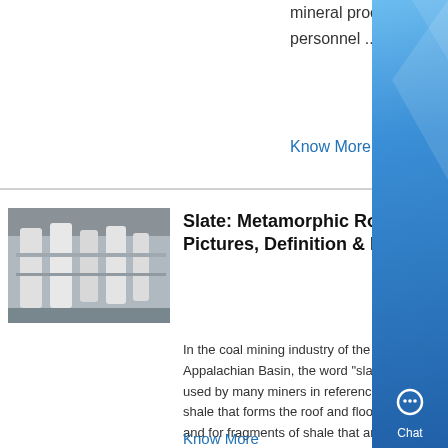mineral processing EPC+M+O service, personnel ....
Know More
Slate: Metamorphic Rock - Pictures, Definition & More
[Figure (photo): Industrial facility with large white cylindrical processing equipment]
In the coal mining industry of the Appalachian Basin, the word "slate" is still used by many miners in reference to the shale that forms the roof and floor of a mine, and for fragments of shale that are separated from the coal in preparation plants Experienced miners train newer miners, and archaic language is passed along...
Know More